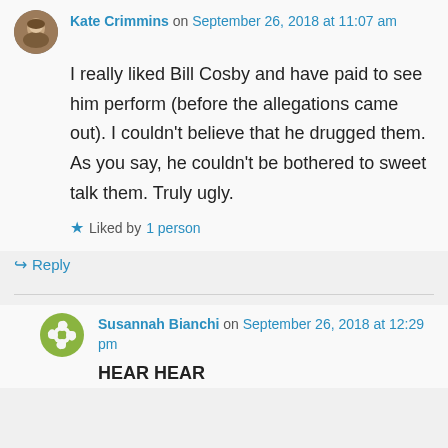Kate Crimmins on September 26, 2018 at 11:07 am
I really liked Bill Cosby and have paid to see him perform (before the allegations came out). I couldn't believe that he drugged them. As you say, he couldn't be bothered to sweet talk them. Truly ugly.
Liked by 1 person
Reply
Susannah Bianchi on September 26, 2018 at 12:29 pm
HEAR HEAR